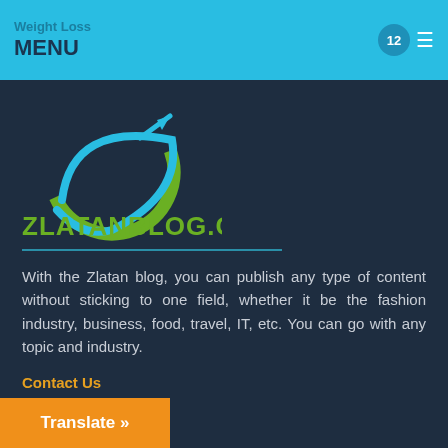Weight Loss MENU
[Figure (logo): Zlatanblog.com logo: green globe shape with blue arrow swoosh, text ZLATANBLOG.COM in green below]
With the Zlatan blog, you can publish any type of content without sticking to one field, whether it be the fashion industry, business, food, travel, IT, etc. You can go with any topic and industry.
Contact Us
Privacy Policy
Translate »